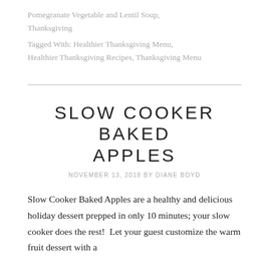Pomegranate Vegetable and Lentil Soup, Thanksgiving
Tagged With: Healthier Thanksgiving Menu, Healthier Thanksgiving Recipes, Thanksgiving Menu
SLOW COOKER BAKED APPLES
NOVEMBER 13, 2018 BY DIANE BOYD
Slow Cooker Baked Apples are a healthy and delicious holiday dessert prepped in only 10 minutes; your slow cooker does the rest!  Let your guest customize the warm fruit dessert with a